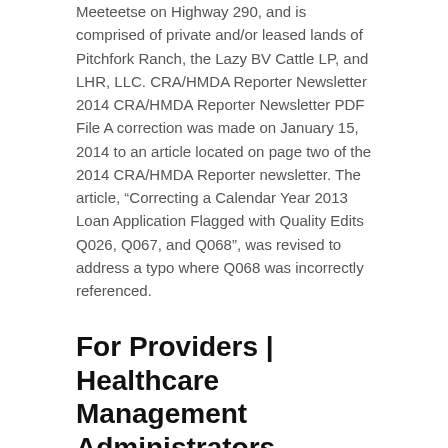Meeteetse on Highway 290, and is comprised of private and/or leased lands of Pitchfork Ranch, the Lazy BV Cattle LP, and LHR, LLC. CRA/HMDA Reporter Newsletter 2014 CRA/HMDA Reporter Newsletter PDF File A correction was made on January 15, 2014 to an article located on page two of the 2014 CRA/HMDA Reporter newsletter. The article, "Correcting a Calendar Year 2013 Loan Application Flagged with Quality Edits Q026, Q067, and Q068", was revised to address a typo where Q068 was incorrectly referenced.
For Providers | Healthcare Management Administrators
Hot Mix Asphalt Conference Addresses Superpave. and more. . . Summer 1998 Volume 1 Number 1 (The First National Newsletter Coordinated with all Five Superpave Centers) North Central Region Continues Implementation. NCSC 98-99 Training Calendar. Five Centers Collaborate on Newsletters.